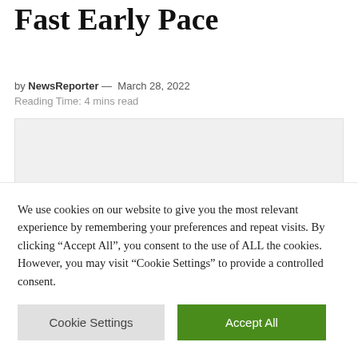Fast Early Pace
by NewsReporter — March 28, 2022
Reading Time: 4 mins read
[Figure (photo): Light gray placeholder image block]
We use cookies on our website to give you the most relevant experience by remembering your preferences and repeat visits. By clicking “Accept All”, you consent to the use of ALL the cookies. However, you may visit "Cookie Settings" to provide a controlled consent.